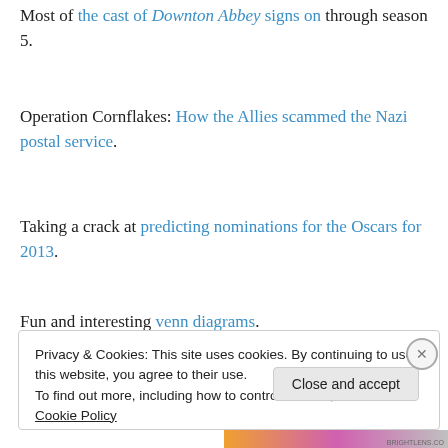Most of the cast of Downton Abbey signs on through season 5.
Operation Cornflakes: How the Allies scammed the Nazi postal service.
Taking a crack at predicting nominations for the Oscars for 2013.
Fun and interesting venn diagrams.
Bill Murray won't do Ghostbusters 3.
Privacy & Cookies: This site uses cookies. By continuing to use this website, you agree to their use. To find out more, including how to control cookies, see here: Cookie Policy
Close and accept